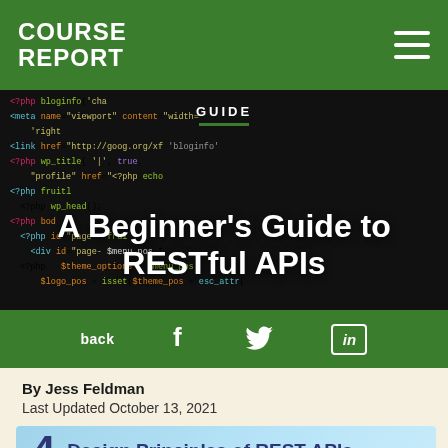COURSE REPORT
[Figure (screenshot): Dark background showing PHP/HTML code editor with syntax highlighting in various colors (red, yellow, blue, green, white)]
A Beginner's Guide to RESTful APIs
GUIDE
back
By Jess Feldman
Last Updated October 13, 2021
[Figure (infographic): 4 Design Principles of REST APIs — teal/light blue background with large number 4 and bold text]